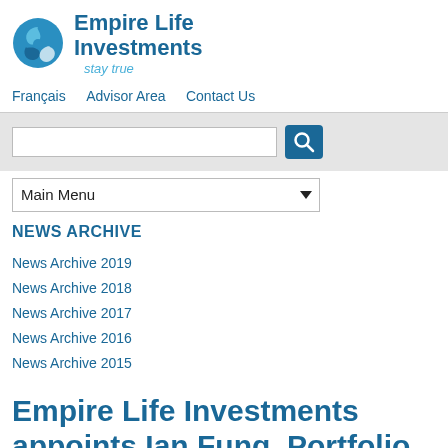[Figure (logo): Empire Life Investments logo with circular icon and tagline 'stay true']
Français   Advisor Area   Contact Us
[Figure (screenshot): Search input box with search button]
Main Menu
NEWS ARCHIVE
News Archive 2019
News Archive 2018
News Archive 2017
News Archive 2016
News Archive 2015
Empire Life Investments appoints Ian Fung, Portfolio Manager, Fixed Income